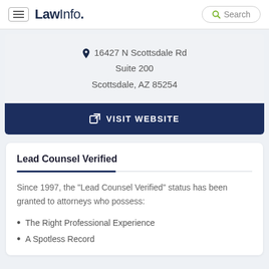LawInfo. Search
16427 N Scottsdale Rd Suite 200 Scottsdale, AZ 85254
VISIT WEBSITE
Lead Counsel Verified
Since 1997, the "Lead Counsel Verified" status has been granted to attorneys who possess:
The Right Professional Experience
A Spotless Record